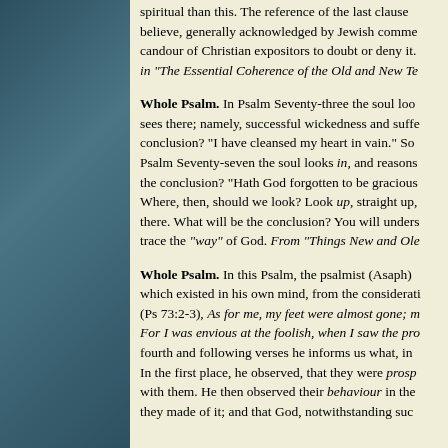spiritual than this. The reference of the last clause believe, generally acknowledged by Jewish comme candour of Christian expositors to doubt or deny it. in "The Essential Coherence of the Old and New Te
Whole Psalm. In Psalm Seventy-three the soul loo sees there; namely, successful wickedness and suffe conclusion? "I have cleansed my heart in vain." So Psalm Seventy-seven the soul looks in, and reasons the conclusion? "Hath God forgotten to be gracious Where, then, should we look? Look up, straight up, there. What will be the conclusion? You will unders trace the "way" of God. From "Things New and Ol
Whole Psalm. In this Psalm, the psalmist (Asaph) which existed in his own mind, from the considerati (Ps 73:2-3), As for me, my feet were almost gone; m For I was envious at the foolish, when I saw the pr fourth and following verses he informs us what, in In the first place, he observed, that they were prosp with them. He then observed their behaviour in the they made of it; and that God, notwithstanding suc